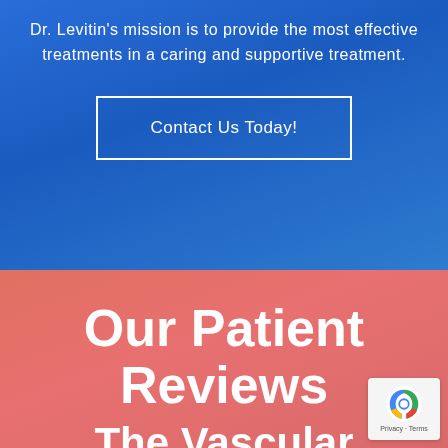Dr. Levitin's mission is to provide the most effective treatments in a caring and supportive treatment.
Contact Us Today!
Our Patient Reviews
The Vascular Birthmark!